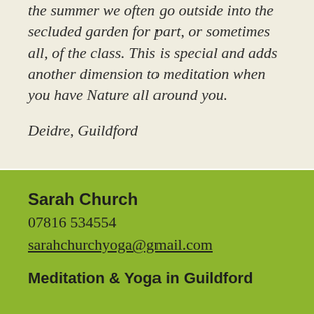the summer we often go outside into the secluded garden for part, or sometimes all, of the class. This is special and adds another dimension to meditation when you have Nature all around you.
Deidre, Guildford
Sarah Church
07816 534554
sarahchurchyoga@gmail.com

Meditation & Yoga in Guildford